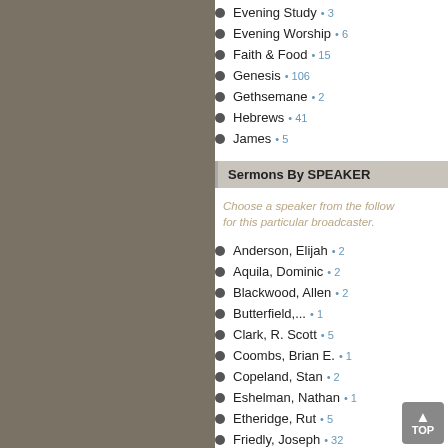Evening Study • 3
Evening Worship • 6
Faith & Food • 15
Genesis • 106
Gethsemane • 2
Hebrews • 41
James • 5
Sermons By SPEAKER
Choose a speaker from the following list for this particular broadcaster.
Anderson, Elijah • 2
Aquila, Dominic • 2
Blackwood, Allen • 2
Butterfield,... • 1
Clark, R. Scott • 5
Coombs, Brian E. • 1
Copeland, Stan • 2
Eshelman, Nathan • 1
Etheridge, Rut • 5
Friedly, Joseph • 32
Gaffin Jr, Richard... • 1
Gamble, Richard • 15
Georner, Aaron • ?